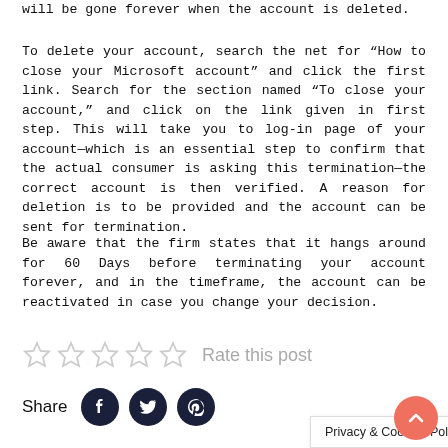will be gone forever when the account is deleted.
To delete your account, search the net for “How to close your Microsoft account” and click the first link. Search for the section named “To close your account,” and click on the link given in first step. This will take you to log-in page of your account—which is an essential step to confirm that the actual consumer is asking this termination—the correct account is then verified. A reason for deletion is to be provided and the account can be sent for termination.
Be aware that the firm states that it hangs around for 60 Days before terminating your account forever, and in the timeframe, the account can be reactivated in case you change your decision.
Rate this post
Share
Privacy & Cookies Policy